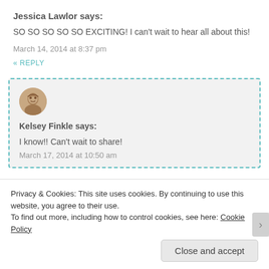Jessica Lawlor says:
SO SO SO SO SO EXCITING! I can't wait to hear all about this!
March 14, 2014 at 8:37 pm
« REPLY
[Figure (photo): Circular avatar photo of Kelsey Finkle]
Kelsey Finkle says:
I know!! Can't wait to share!
March 17, 2014 at 10:50 am
Privacy & Cookies: This site uses cookies. By continuing to use this website, you agree to their use.
To find out more, including how to control cookies, see here: Cookie Policy
Close and accept